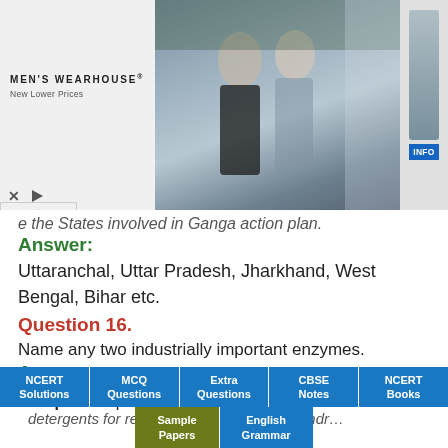[Figure (other): Men's Wearhouse advertisement banner showing a couple in formal wear and a man in a suit, with INFO button]
e the states involved in Ganga action plan.
Answer:
Uttaranchal, Uttar Pradesh, Jharkhand, West Bengal, Bihar etc.
Question 16.
Name any two industrially important enzymes.
Answer:
Lipase – lipid dissolving enzymes, added in
detergents for removing oil stains from laundr…
NCERT Solutions | MCQ Questions | Extra Questions | CBSE Notes | NCERT Books | Sample Papers | English Grammar